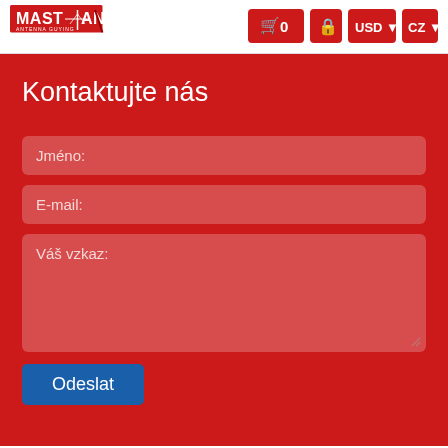[Figure (logo): Mastrant Antenna Guying company logo - red text with antenna mast graphic]
[Figure (screenshot): Navigation bar with shopping cart icon showing 0 items, lock icon, USD currency selector, and CZ language selector]
Kontaktujte nás
Jméno:
E-mail:
Váš vzkaz:
Odeslat